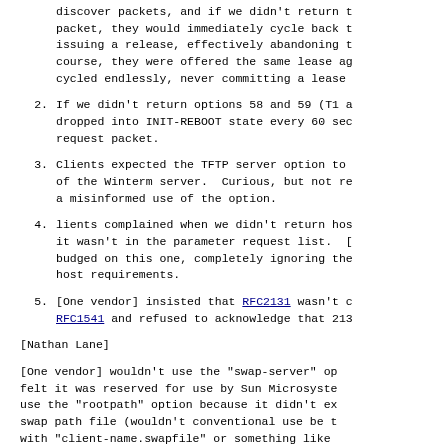discover packets, and if we didn't return t packet, they would immediately cycle back t issuing a release, effectively abandoning t course, they were offered the same lease ag cycled endlessly, never committing a lease
2. If we didn't return options 58 and 59 (T1 a dropped into INIT-REBOOT state every 60 sec request packet.
3. Clients expected the TFTP server option to of the Winterm server.  Curious, but not re a misinformed use of the option.
4. lients complained when we didn't return hos it wasn't in the parameter request list.  [ budged on this one, completely ignoring the host requirements.
5. [One vendor] insisted that RFC2131 wasn't c RFC1541 and refused to acknowledge that 213
[Nathan Lane]
[One vendor] wouldn't use the "swap-server" op felt it was reserved for use by Sun Microsyste use the "rootpath" option because it didn't ex swap path file (wouldn't conventional use be t with "client-name.swapfile" or something like with that option?)